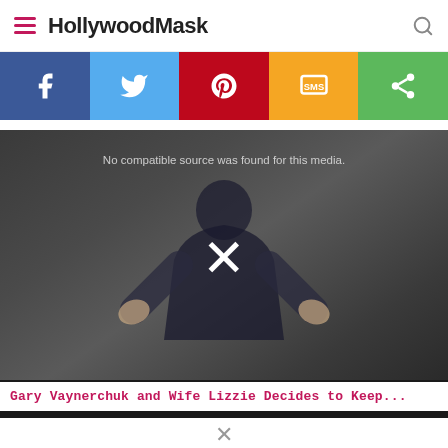HollywoodMask
[Figure (infographic): Social sharing bar with icons for Facebook (blue), Twitter (light blue), Pinterest (red), SMS (orange/yellow), and Share (green)]
[Figure (screenshot): Video player showing a man with hands raised, overlaid with text 'No compatible source was found for this media.' and a white X button in the center]
Gary Vaynerchuk and Wife Lizzie Decides to Keep...